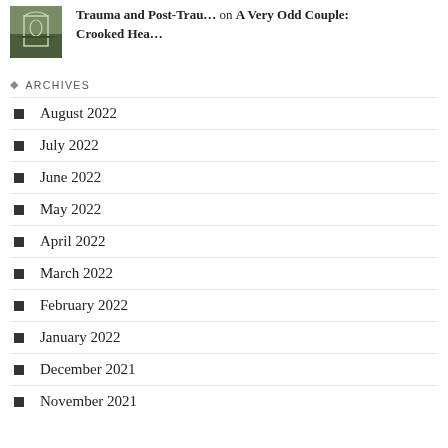Trauma and Post-Trau… on A Very Odd Couple: Crooked Hea…
ARCHIVES
August 2022
July 2022
June 2022
May 2022
April 2022
March 2022
February 2022
January 2022
December 2021
November 2021